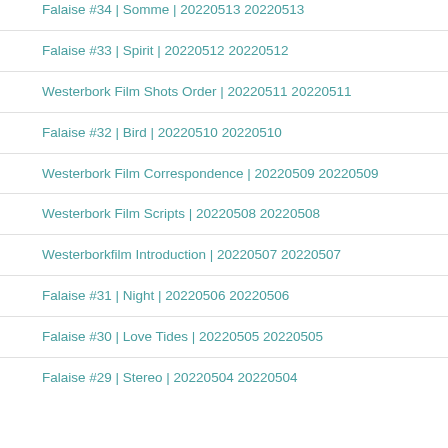Falaise #34 | Somme | 20220513 20220513
Falaise #33 | Spirit | 20220512 20220512
Westerbork Film Shots Order | 20220511 20220511
Falaise #32 | Bird | 20220510 20220510
Westerbork Film Correspondence | 20220509 20220509
Westerbork Film Scripts | 20220508 20220508
Westerborkfilm Introduction | 20220507 20220507
Falaise #31 | Night | 20220506 20220506
Falaise #30 | Love Tides | 20220505 20220505
Falaise #29 | Stereo | 20220504 20220504